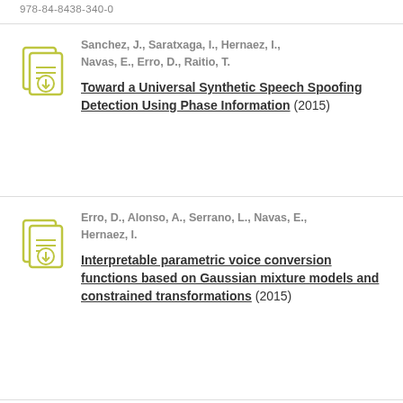978-84-8438-340-0
Sanchez, J., Saratxaga, I., Hernaez, I., Navas, E., Erro, D., Raitio, T.
Toward a Universal Synthetic Speech Spoofing Detection Using Phase Information (2015)
Erro, D., Alonso, A., Serrano, L., Navas, E., Hernaez, I.
Interpretable parametric voice conversion functions based on Gaussian mixture models and constrained transformations (2015)